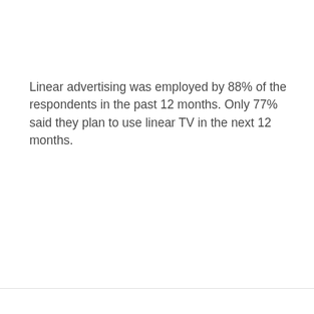Linear advertising was employed by 88% of the respondents in the past 12 months. Only 77% said they plan to use linear TV in the next 12 months.